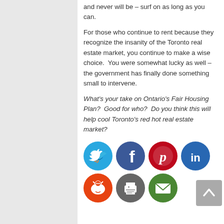and never will be – surf on as long as you can.
For those who continue to rent because they recognize the insanity of the Toronto real estate market, you continue to make a wise choice.  You were somewhat lucky as well – the government has finally done something small to intervene.
What's your take on Ontario's Fair Housing Plan?  Good for who?  Do you think this will help cool Toronto's red hot real estate market?
[Figure (infographic): Social media share icons: Twitter (blue bird), Facebook (blue f), Pinterest (red p), LinkedIn (blue in), Reddit (red alien), Print (grey printer), Email (green envelope)]